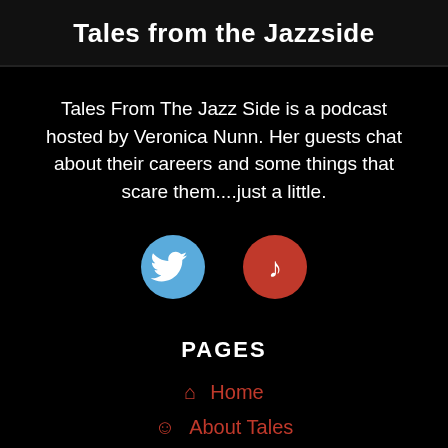Tales from the Jazzside
Tales From The Jazz Side is a podcast hosted by Veronica Nunn. Her guests chat about their careers and some things that scare them....just a little.
[Figure (illustration): Two circular social media icons: a blue Twitter bird icon and a red music note icon]
PAGES
Home
About Tales